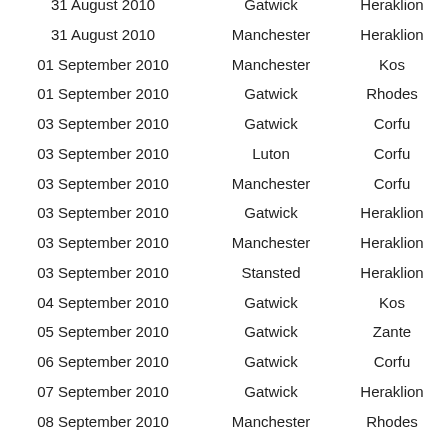| 31 August 2010 | Gatwick | Heraklion |
| 31 August 2010 | Manchester | Heraklion |
| 01 September 2010 | Manchester | Kos |
| 01 September 2010 | Gatwick | Rhodes |
| 03 September 2010 | Gatwick | Corfu |
| 03 September 2010 | Luton | Corfu |
| 03 September 2010 | Manchester | Corfu |
| 03 September 2010 | Gatwick | Heraklion |
| 03 September 2010 | Manchester | Heraklion |
| 03 September 2010 | Stansted | Heraklion |
| 04 September 2010 | Gatwick | Kos |
| 05 September 2010 | Gatwick | Zante |
| 06 September 2010 | Gatwick | Corfu |
| 07 September 2010 | Gatwick | Heraklion |
| 08 September 2010 | Manchester | Rhodes |